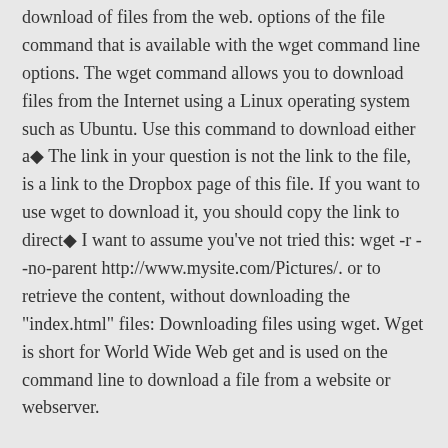download of files from the web. options of the file command that is available with the wget command line options. The wget command allows you to download files from the Internet using a Linux operating system such as Ubuntu. Use this command to download either a◆ The link in your question is not the link to the file, is a link to the Dropbox page of this file. If you want to use wget to download it, you should copy the link to direct◆ I want to assume you've not tried this: wget -r --no-parent http://www.mysite.com/Pictures/. or to retrieve the content, without downloading the "index.html" files: Downloading files using wget. Wget is short for World Wide Web get and is used on the command line to download a file from a website or webserver.
GNU Wget is a computer program that retrieves content from web servers. Recursive download works